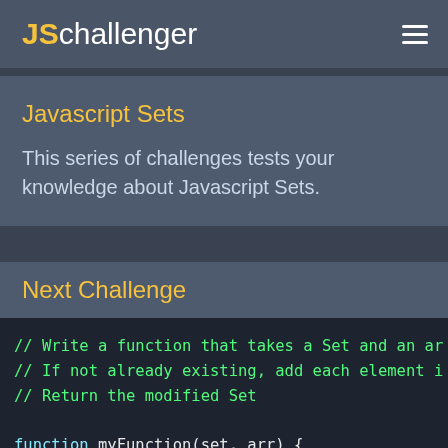JSchallenger
Javascript Sets
This series of challenges tests your knowledge about Javascript Sets.
Next Challenge
// Write a function that takes a Set and an ar
// If not already existing, add each element i
// Return the modified Set

function myFunction(set, arr) {